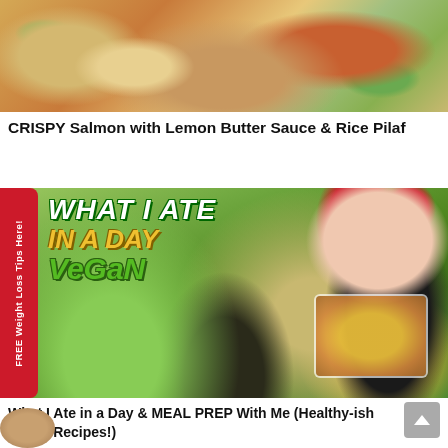[Figure (photo): Close-up photo of crispy salmon with rice pilaf and green peas]
CRISPY Salmon with Lemon Butter Sauce & Rice Pilaf
[Figure (photo): Thumbnail image for 'What I Ate in a Day & MEAL PREP With Me (Healthy-ish Vegan Recipes!)' video, showing vegan food dishes and a woman with red hair holding a meal prep container. Red banner on left reads 'FREE Weight Loss Tips Here!']
What I Ate in a Day & MEAL PREP With Me (Healthy-ish Vegan Recipes!)